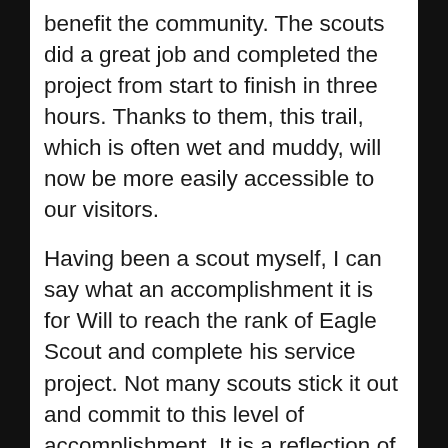benefit the community. The scouts did a great job and completed the project from start to finish in three hours. Thanks to them, this trail, which is often wet and muddy, will now be more easily accessible to our visitors.
Having been a scout myself, I can say what an accomplishment it is for Will to reach the rank of Eagle Scout and complete his service project. Not many scouts stick it out and commit to this level of accomplishment. It is a reflection of Will’s perseverance, fortitude, and determination that will serve him well throughout his academic and future professional career. I think we can all draw inspiration from the example set by Will and the scouts from Troop 106. Taking the time to give back by volunteering is both personally fulfilling and incredibly important for organizations like...